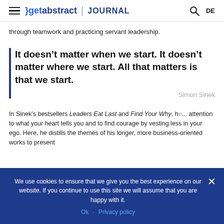getabstract | JOURNAL
through teamwork and practicing servant leadership.
It doesn't matter when we start. It doesn't matter where we start. All that matters is that we start.
— Simon Sinek
In Sinek's bestsellers Leaders Eat Last and Find Your Why, h... attention to what your heart tells you and to find courage by vesting less in your ego. Here, he distills the themes of his longer, more business-oriented works to present
We use cookies to ensure that we give you the best experience on our website. If you continue to use this site we will assume that you are happy with it. Ok · Privacy policy